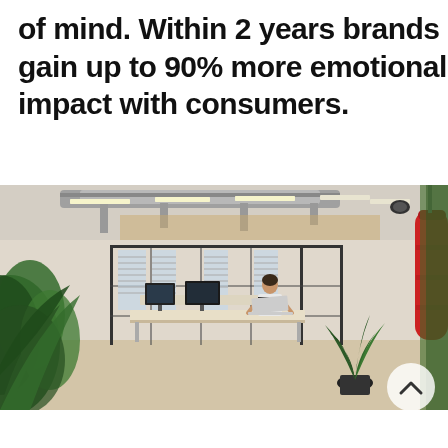of mind. Within 2 years brands gain up to 90% more emotional impact with consumers.
[Figure (photo): Modern open-plan office interior with exposed ceiling ducts, black-framed glass partition walls, workstations with monitors, a person working at a laptop, lush green plants in the foreground and right side, a red punching bag hanging on the right, and a circular white scroll-up button in the bottom right corner.]